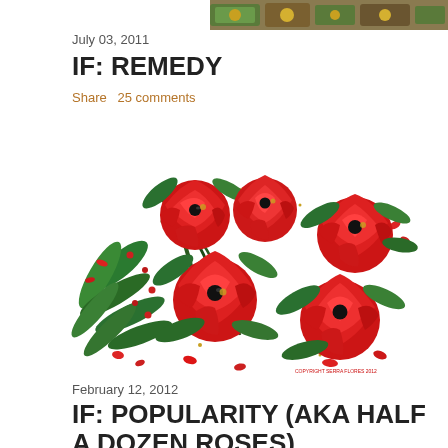July 03, 2011
[Figure (photo): Partial top strip image showing decorative/antique items with green and gold colors]
IF: REMEDY
Share   25 comments
[Figure (illustration): Colorful illustration of red roses and green leaves, petals falling, on white background. Copyright notice at bottom right.]
February 12, 2012
IF: POPULARITY (AKA HALF A DOZEN ROSES)